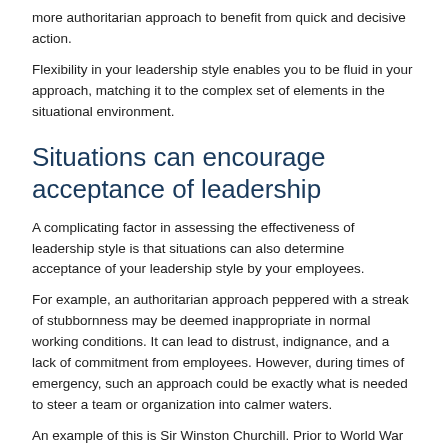more authoritarian approach to benefit from quick and decisive action.
Flexibility in your leadership style enables you to be fluid in your approach, matching it to the complex set of elements in the situational environment.
Situations can encourage acceptance of leadership
A complicating factor in assessing the effectiveness of leadership style is that situations can also determine acceptance of your leadership style by your employees.
For example, an authoritarian approach peppered with a streak of stubbornness may be deemed inappropriate in normal working conditions. It can lead to distrust, indignance, and a lack of commitment from employees. However, during times of emergency, such an approach could be exactly what is needed to steer a team or organization into calmer waters.
An example of this is Sir Winston Churchill. Prior to World War II, Churchill was relatively unpopular in Great Britain. He